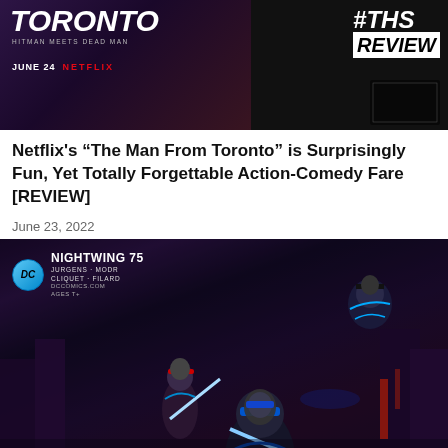[Figure (photo): Promotional banner for Netflix's The Man From Toronto showing dark moody background with 'TORONTO HITMAN MEETS DEAD MAN' text on left, JUNE 24 | NETFLIX, and #THS REVIEW logo on right]
Netflix's “The Man From Toronto” is Surprisingly Fun, Yet Totally Forgettable Action-Comedy Fare [REVIEW]
June 23, 2022
[Figure (photo): DC Comics Nightwing 75 cover art showing three versions of Nightwing in action poses against a dark city skyline. DC logo with NIGHTWING 75, JURGENS + MODR, CLIQUET + FILARD, DCDCOMICS.COM credits in top left corner.]